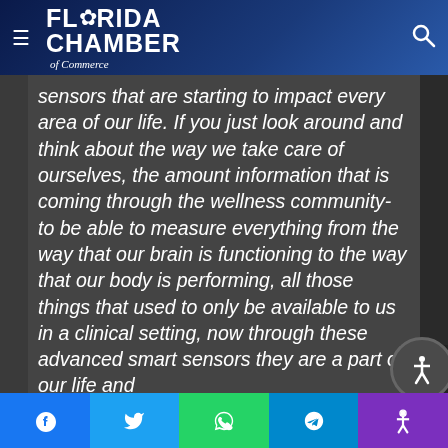[Figure (logo): Florida Chamber of Commerce logo with hamburger menu on left and search icon on right, white text on dark navy/blue gradient header]
sensors that are starting to impact every area of our life. If you just look around and think about the way we take care of ourselves, the amount information that is coming through the wellness community- to be able to measure everything from the way that our brain is functioning to the way that our body is performing, all those things that used to only be available to us in a clinical setting, now through these advanced smart sensors they are a part of our life and
[Figure (infographic): Bottom social sharing bar with Facebook, Twitter, WhatsApp, Telegram buttons and accessibility icon]